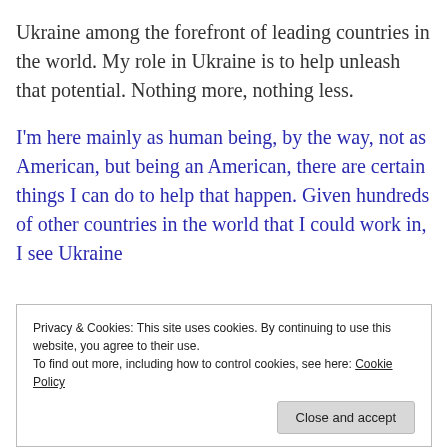Ukraine among the forefront of leading countries in the world. My role in Ukraine is to help unleash that potential. Nothing more, nothing less.
I'm here mainly as human being, by the way, not as American, but being an American, there are certain things I can do to help that happen. Given hundreds of other countries in the world that I could work in, I see Ukraine
Privacy & Cookies: This site uses cookies. By continuing to use this website, you agree to their use.
To find out more, including how to control cookies, see here: Cookie Policy
Close and accept